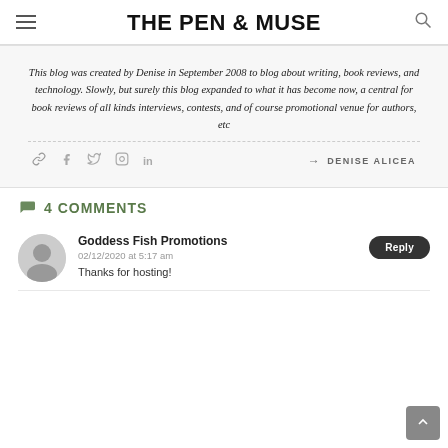THE PEN & MUSE
This blog was created by Denise in September 2008 to blog about writing, book reviews, and technology. Slowly, but surely this blog expanded to what it has become now, a central for book reviews of all kinds interviews, contests, and of course promotional venue for authors, etc
→ DENISE ALICEA
4 COMMENTS
Goddess Fish Promotions
02/12/2020 at 5:17 am
Thanks for hosting!